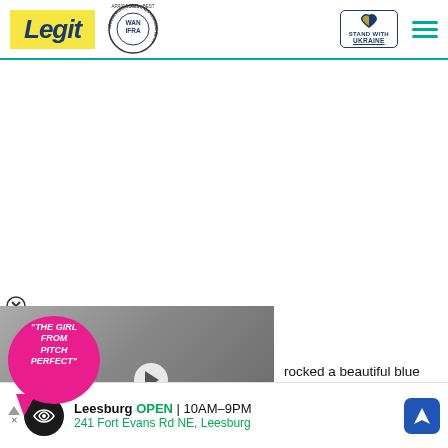Legit | WAN IFRA Africa 2021 Best News Website in Africa | Stand With Ukraine
[Figure (screenshot): Blank white advertisement area in the middle of the page]
[Figure (photo): Video ad overlay showing 'THE GIRL FROM PITCH PERFECT' label on pink speech bubble background with two people in formal attire and a play button]
rocked a beautiful blue
d she appeared so simple
[Figure (infographic): Bottom advertisement bar: Leesburg OPEN | 10AM-9PM, 241 Fort Evans Rd NE, Leesburg with navigation icon]